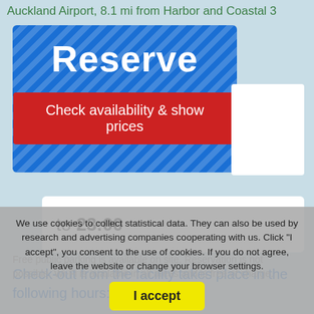Auckland Airport, 8.1 mi from Harbor and Coastal 3
[Figure (screenshot): Blue striped Reserve booking widget with 'Reserve' heading and red 'Check availability & show prices' button]
to 23:00
Check-out from the facility takes place in the following hours:
We use cookies to collect statistical data. They can also be used by research and advertising companies cooperating with us. Click "I accept", you consent to the use of cookies. If you do not agree, leave the website or change your browser settings.
Free public parking is available on site. Reservation is not possible. Wi-Fi is available in all areas and is free of charge.